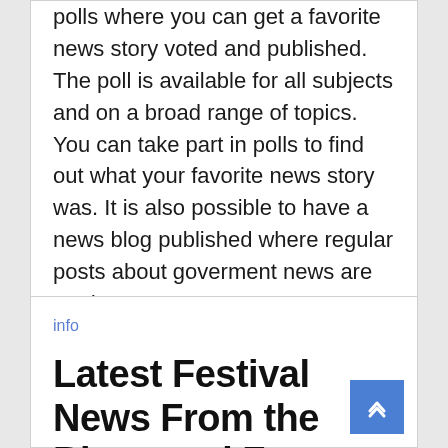polls where you can get a favorite news story voted and published. The poll is available for all subjects and on a broad range of topics. You can take part in polls to find out what your favorite news story was. It is also possible to have a news blog published where regular posts about goverment news are made.
info
Latest Festival News From the Blogs and Forums of Jazz Fans